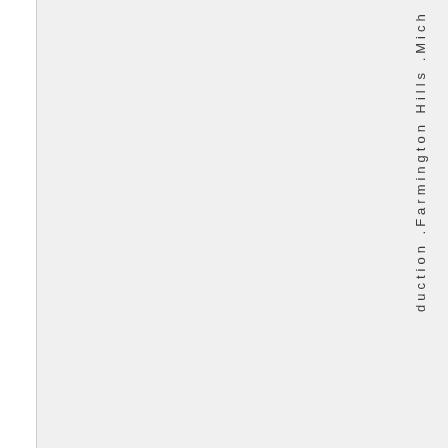duction .Farmington Hills .Mich